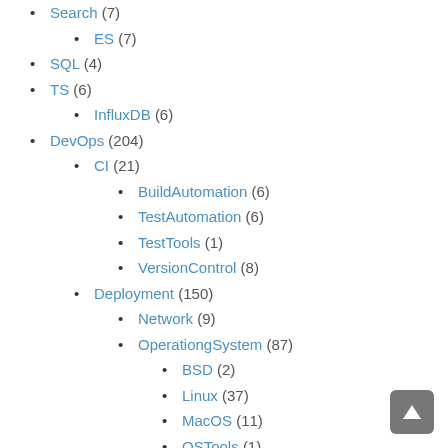Search (7)
ES (7)
SQL (4)
TS (6)
InfluxDB (6)
DevOps (204)
CI (21)
BuildAutomation (6)
TestAutomation (6)
TestTools (1)
VersionControl (8)
Deployment (150)
Network (9)
OperationgSystem (87)
BSD (2)
Linux (37)
MacOS (11)
OSTools (1)
Synology (1)
UNIX (2)
Windows (34)
Security (30)